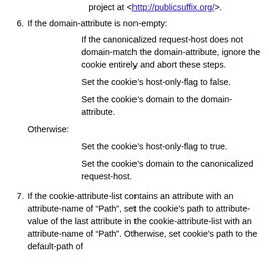project at <http://publicsuffix.org/>.
6. If the domain-attribute is non-empty:
If the canonicalized request-host does not domain-match the domain-attribute, ignore the cookie entirely and abort these steps.
Set the cookie’s host-only-flag to false.
Set the cookie’s domain to the domain-attribute.
Otherwise:
Set the cookie’s host-only-flag to true.
Set the cookie's domain to the canonicalized request-host.
7. If the cookie-attribute-list contains an attribute with an attribute-name of "Path", set the cookie's path to attribute-value of the last attribute in the cookie-attribute-list with an attribute-name of "Path". Otherwise, set cookie's path to the default-path of